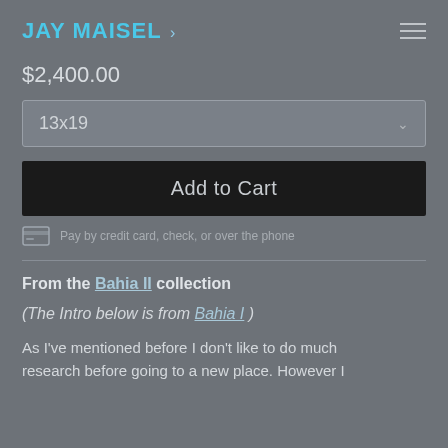JAY MAISEL ›
$2,400.00
13x19
Add to Cart
Pay by credit card, check, or over the phone
From the Bahia II collection
(The Intro below is from Bahia I )
As I've mentioned before I don't like to do much research before going to a new place. However I